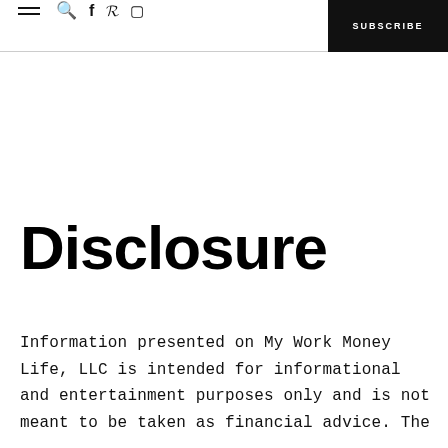≡ 🔍 f p ⬚  SUBSCRIBE
Disclosure
Information presented on My Work Money Life, LLC is intended for informational and entertainment purposes only and is not meant to be taken as financial advice. The